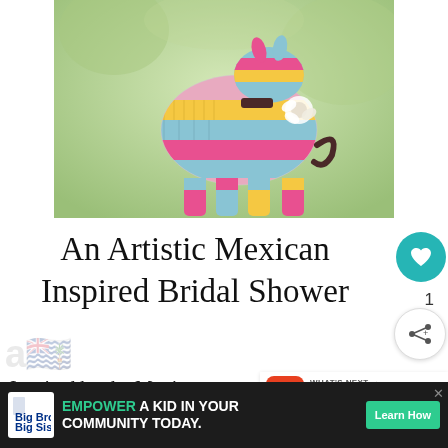[Figure (photo): A colorful piñata in pink, yellow, and light blue stripes shaped like a donkey/bull, photographed against a blurred green outdoor background.]
An Artistic Mexican Inspired Bridal Shower
Inspired by the Mexican painter Fri... photographer Tahni Candelaria-Holm of Joyeuse
[Figure (infographic): WHAT'S NEXT → Pretty Pink Bridal Show... promotional widget with square icon]
[Figure (infographic): Advertisement banner: Big Brothers Big Sisters logo. EMPOWER A KID IN YOUR COMMUNITY TODAY. Learn How button.]